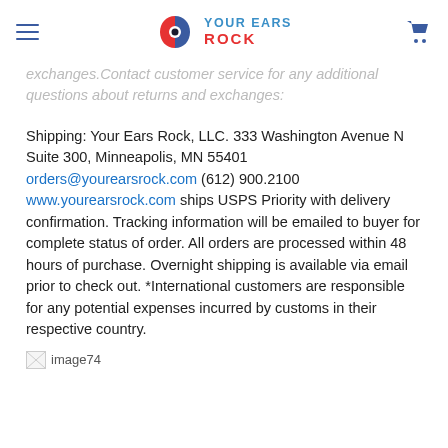YOUR EARS ROCK
exchanges. Contact customer service for any additional questions about returns and exchanges:
Shipping: Your Ears Rock, LLC. 333 Washington Avenue N Suite 300, Minneapolis, MN 55401 orders@yourearsrock.com (612) 900.2100 www.yourearsrock.com ships USPS Priority with delivery confirmation. Tracking information will be emailed to buyer for complete status of order. All orders are processed within 48 hours of purchase. Overnight shipping is available via email prior to check out. *International customers are responsible for any potential expenses incurred by customs in their respective country.
[Figure (other): image74 placeholder image at bottom of page]